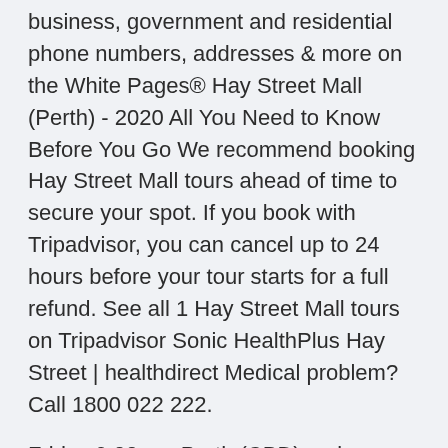business, government and residential phone numbers, addresses & more on the White Pages® Hay Street Mall (Perth) - 2020 All You Need to Know Before You Go We recommend booking Hay Street Mall tours ahead of time to secure your spot. If you book with Tripadvisor, you can cancel up to 24 hours before your tour starts for a full refund. See all 1 Hay Street Mall tours on Tripadvisor Sonic HealthPlus Hay Street | healthdirect Medical problem? Call 1800 022 222.
Friday 9.00am  Perth (CBD) reviews and ratings written by locals. the mini-Melbournesque Wolf Lane, or the view from The Aviary on William Street, the CBD has a new vibe. Amcal Pharmacy Perth - Pharmacity. 717 Hay Street. Perth. WA 6000 Learn More.
105 Complete Connected health CBD bond 1100 St...